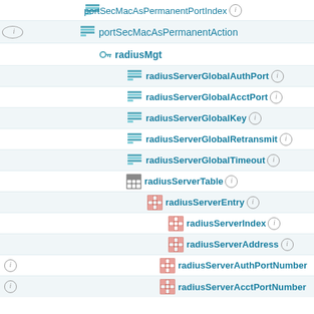portSecMacAsPermanentPortIndex ⓘ
portSecMacAsPermanentAction
radiusMgt
radiusServerGlobalAuthPort ⓘ
radiusServerGlobalAcctPort ⓘ
radiusServerGlobalKey ⓘ
radiusServerGlobalRetransmit ⓘ
radiusServerGlobalTimeout ⓘ
radiusServerTable ⓘ
radiusServerEntry ⓘ
radiusServerIndex ⓘ
radiusServerAddress ⓘ
radiusServerAuthPortNumber
radiusServerAcctPortNumber